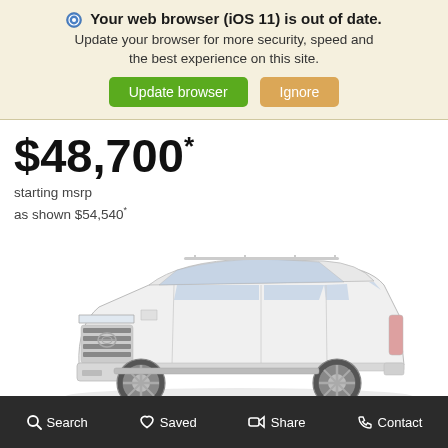Your web browser (iOS 11) is out of date. Update your browser for more security, speed and the best experience on this site.
Update browser | Ignore
$48,700*
starting msrp
as shown $54,540*
[Figure (photo): White Toyota Sequoia SUV shown from a front three-quarter angle on a white background.]
Search  Saved  Share  Contact